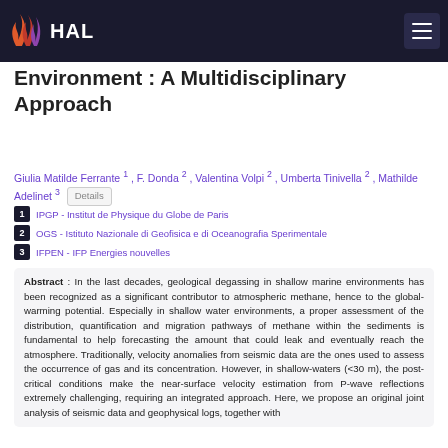HAL
Environment : A Multidisciplinary Approach
Giulia Matilde Ferrante 1 , F. Donda 2 , Valentina Volpi 2 , Umberta Tinivella 2 , Mathilde Adelinet 3
1 IPGP - Institut de Physique du Globe de Paris
2 OGS - Istituto Nazionale di Geofisica e di Oceanografia Sperimentale
3 IFPEN - IFP Energies nouvelles
Abstract : In the last decades, geological degassing in shallow marine environments has been recognized as a significant contributor to atmospheric methane, hence to the global-warming potential. Especially in shallow water environments, a proper assessment of the distribution, quantification and migration pathways of methane within the sediments is fundamental to help forecasting the amount that could leak and eventually reach the atmosphere. Traditionally, velocity anomalies from seismic data are the ones used to assess the occurrence of gas and its concentration. However, in shallow-waters (<30 m), the post-critical conditions make the near-surface velocity estimation from P-wave reflections extremely challenging, requiring an integrated approach. Here, we propose an original joint analysis of seismic data and geophysical logs, together with